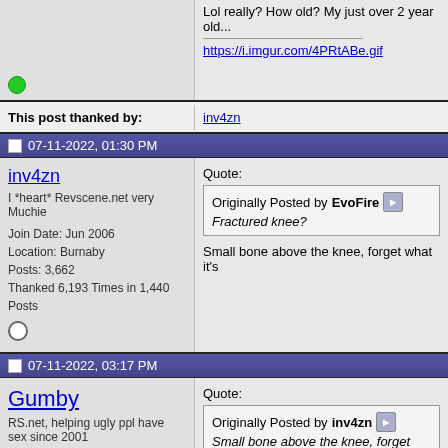Lol really? How old? My just over 2 year old...
https://i.imgur.com/4PRtABe.gif
This post thanked by:
inv4zn
07-11-2022, 01:30 PM
inv4zn
I *heart* Revscene.net very Muchie
Join Date: Jun 2006
Location: Burnaby
Posts: 3,662
Thanked 6,193 Times in 1,440 Posts
Quote:
Originally Posted by EvoFire
Fractured knee?
Small bone above the knee, forget what it's
07-11-2022, 03:17 PM
Gumby
RS.net, helping ugly ppl have sex since 2001
Join Date: Aug 2002
Location: Vancouver
Posts: 9,719
Quote:
Originally Posted by inv4zn
Small bone above the knee, forget wha
Patella?
Do Not Put Aftershave on Your Balls. -604CEFIRO
Looks like I'm gonna have some hot sex again tonight...O0
kinda off topic but obama is a dilf - miss_crayon
Honest to fucking Christ the easiest way to get a married...